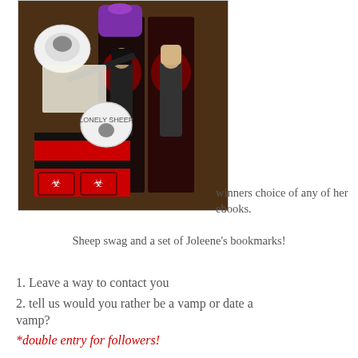[Figure (photo): Photo of giveaway items on a wooden table: anime-style bookmarks featuring dark-haired and blonde characters against a red/dark background, sheep swag items, candy, stickers, pen, and merchandise with black/red branding]
winners choice of any of her ebooks.
Sheep swag and a set of Joleene's bookmarks!
1. Leave a way to contact you
2. tell us would you rather be a vamp or date a vamp?
*double entry for followers!